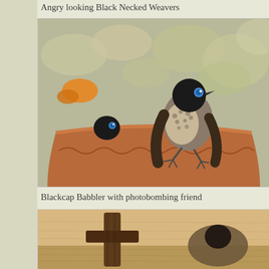Angry looking Black Necked Weavers
[Figure (photo): A Black Necked Weaver bird perched on the rim of a terracotta pot/bird bath, with a second bird visible peeking over the rim in the background. The pot has decorative patterns and there are leaves and fruit pieces scattered around.]
Blackcap Babbler with photobombing friend
[Figure (photo): A bird (Blackcap Babbler) viewed from behind or side, with sandy/dirt ground visible. A dark wooden object is visible in the background.]